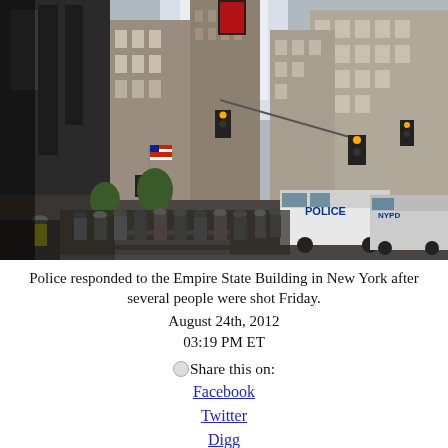[Figure (photo): Street-level photo of a New York City avenue with tall buildings on both sides, police vehicles (a white NYPD van labeled POLICE and an NYPD SUV), groups of police officers and people gathered on the street, traffic lights, an American flag, and Chase bank signage visible on the left. The scene is at the Empire State Building area.]
Police responded to the Empire State Building in New York after several people were shot Friday.
August 24th, 2012
03:19 PM ET
Share this on:
Facebook
Twitter
Digg
del.icio.us